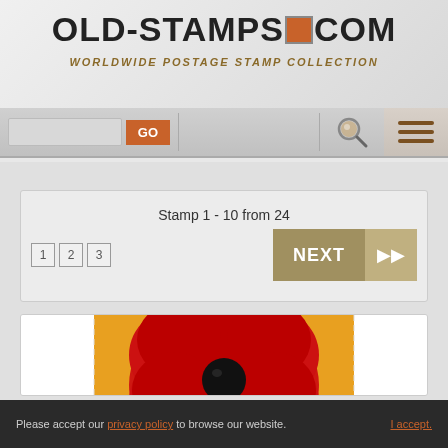OLD-STAMPS.COM — WORLDWIDE POSTAGE STAMP COLLECTION
Stamp 1 - 10 from 24
1 2 3  NEXT ▶▶
[Figure (photo): Paraguay postage stamp with red flower (poppy) on orange/yellow background, labeled PARAGUAY and AEREO]
Please accept our privacy policy to browse our website.   I accept.